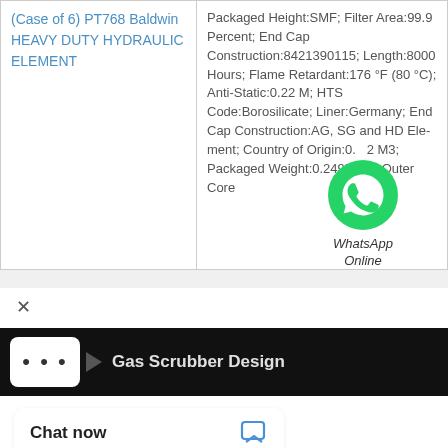| Product | Specifications |
| --- | --- |
| (Case of 6) PT768 Baldwin HEAVY DUTY HYDRAULIC ELEMENT | Packaged Height:SMF; Filter Area:99.9 Percent; End Cap Construction:8421390115; Length:8000 Hours; Flame Retardant:176 °F (80 °C); Anti-Static:0.22 M; HTS Code:Borosilicate; Liner:Germany; End Cap Construction:AG, SG and HD Element; Country of Origin:0.2 M3; Packaged Weight:0.2495 KG; Outer Core |
[Figure (logo): WhatsApp green circle logo with phone icon and 'WhatsApp Online' text label]
× Gas Scrubber Design
Chat now